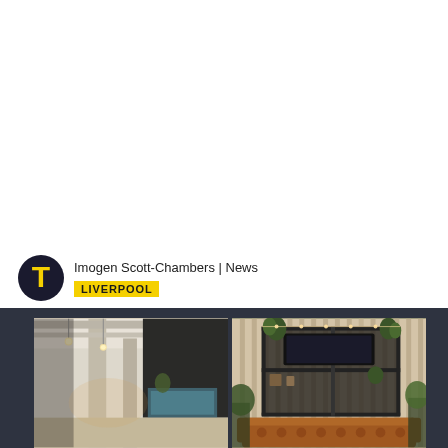[Figure (illustration): Logo: circular dark badge with yellow letter T, representing The Tribune or similar publication]
Imogen Scott-Chambers | News
LIVERPOOL
[Figure (photo): Two interior photos side by side: left shows an industrial-style loft interior with exposed ceiling beams, pendant lights, brick and concrete columns; right shows a modern living room with slatted wood wall panels, shelving unit with TV and plants, and a tufted leather sofa]